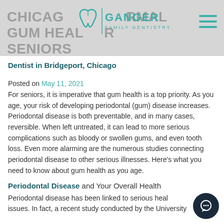CHICAGO DENTIST: OPTIMAL GUM HEALTH FOR SENIORS
[Figure (logo): Ganger Family Dentistry logo with teal tooth icon and text]
Dentist in Bridgeport, Chicago
Posted on May 11, 2021
For seniors, it is imperative that gum health is a top priority. As you age, your risk of developing periodontal (gum) disease increases. Periodontal disease is both preventable, and in many cases, reversible. When left untreated, it can lead to more serious complications such as bloody or swollen gums, and even tooth loss. Even more alarming are the numerous studies connecting periodontal disease to other serious illnesses. Here's what you need to know about gum health as you age.
Periodontal Disease and Your Overall Health
Periodontal disease has been linked to serious health issues. In fact, a recent study conducted by the University